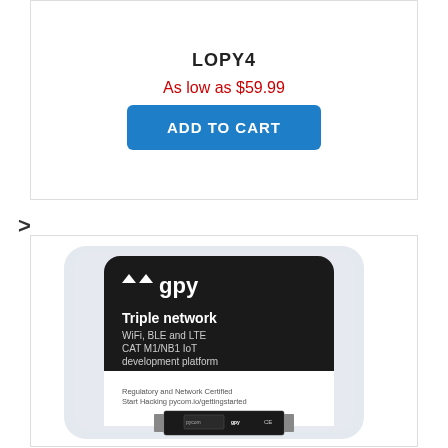LOPY4
As low as $59.99
ADD TO CART
>
[Figure (photo): GPy triple network development board in retail packaging. The black box shows the pycom logo with 'gpy', 'Triple network', 'WiFi, BLE and LTE', 'CAT M1/NB1 IoT development platform', 'Regulatory and Network Certified', 'Start Hacking pycom.io/gettingstarted'. The circuit board is visible at the bottom of the packaging.]